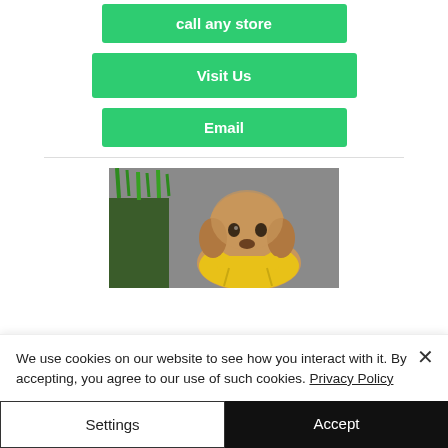call any store
Visit Us
Email
[Figure (photo): A small fluffy puppy wearing a yellow hoodie, sitting in front of green grass against a grey background.]
We use cookies on our website to see how you interact with it. By accepting, you agree to our use of such cookies. Privacy Policy
Settings
Accept